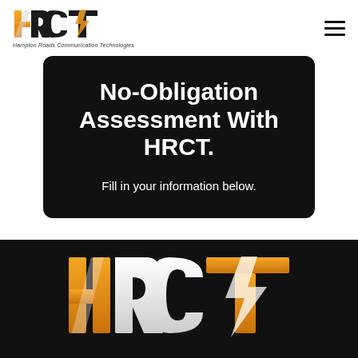[Figure (logo): HRCT logo with orange/yellow styling and tagline 'Hampton Roads Communication Technologies']
No-Obligation Assessment With HRCT.
Fill in your information below.
[Figure (logo): Large HRCT logo in orange/yellow/white on black background footer]